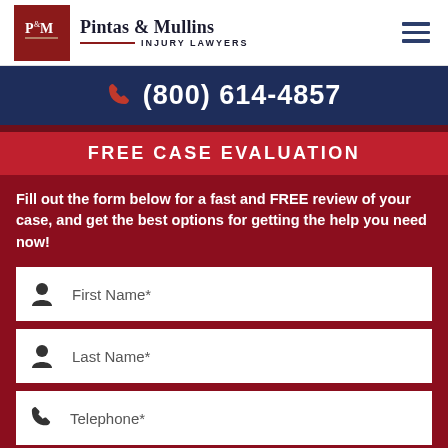Pintas & Mullins Injury Lawyers
(800) 614-4857
FREE CASE EVALUATION
Fill out the form below for a fast and FREE review of your case, and get the best options for getting the help you need now!
First Name*
Last Name*
Telephone*